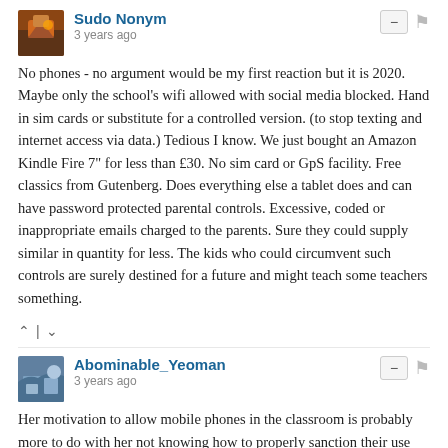Sudo Nonym
3 years ago
No phones - no argument would be my first reaction but it is 2020. Maybe only the school's wifi allowed with social media blocked. Hand in sim cards or substitute for a controlled version. (to stop texting and internet access via data.) Tedious I know. We just bought an Amazon Kindle Fire 7" for less than £30. No sim card or GpS facility. Free classics from Gutenberg. Does everything else a tablet does and can have password protected parental controls. Excessive, coded or inappropriate emails charged to the parents. Sure they could supply similar in quantity for less. The kids who could circumvent such controls are surely destined for a future and might teach some teachers something.
Abominable_Yeoman
3 years ago
Her motivation to allow mobile phones in the classroom is probably more to do with her not knowing how to properly sanction their use rather than any actual benefit.